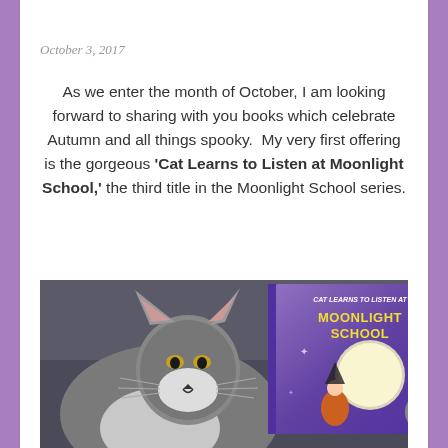October 3, 2017
As we enter the month of October, I am looking forward to sharing with you books which celebrate Autumn and all things spooky.  My very first offering is the gorgeous ‘Cat Learns to Listen at Moonlight School,’ the third title in the Moonlight School series.
[Figure (photo): A stuffed cat toy sitting next to a children’s book titled ‘Cat Learns to Listen at Moonlight School’ with a purple cover showing a witch, a cat, and a full moon, placed on a grey couch.]